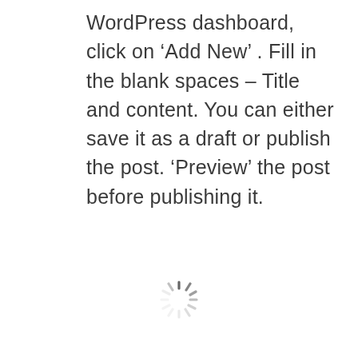WordPress dashboard, click on 'Add New' . Fill in the blank spaces – Title and content. You can either save it as a draft or publish the post. 'Preview' the post before publishing it.
[Figure (other): A loading spinner graphic (circular dashed spinner icon)]